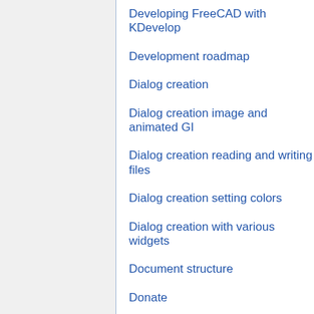Developing FreeCAD with KDevelop
Development roadmap
Dialog creation
Dialog creation image and animated GI
Dialog creation reading and writing files
Dialog creation setting colors
Dialog creation with various widgets
Document structure
Donate
Download
Doxygen